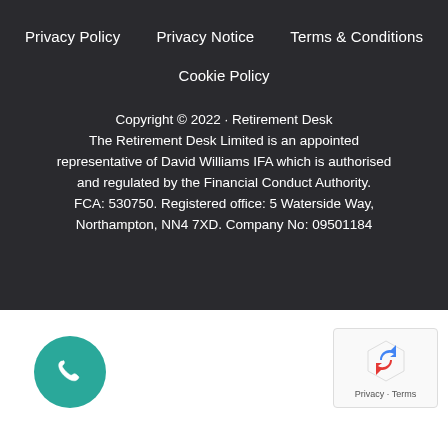Privacy Policy    Privacy Notice    Terms & Conditions
Cookie Policy
Copyright © 2022 · Retirement Desk
The Retirement Desk Limited is an appointed representative of David Williams IFA which is authorised and regulated by the Financial Conduct Authority. FCA: 530750. Registered office: 5 Waterside Way, Northampton, NN4 7XD. Company No: 09501184
[Figure (illustration): Teal circular phone call button icon]
[Figure (other): reCAPTCHA widget with Privacy · Terms text]